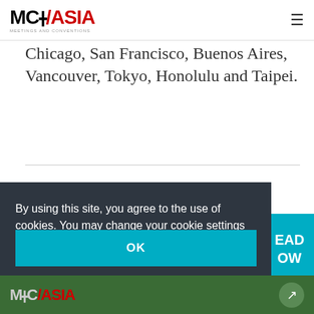MC/ASIA
Chicago, San Francisco, Buenos Aires, Vancouver, Tokyo, Honolulu and Taipei.
By using this site, you agree to the use of cookies. You may change your cookie settings at any time, but the site may not function properly. Learn more
OK
MC/ASIA